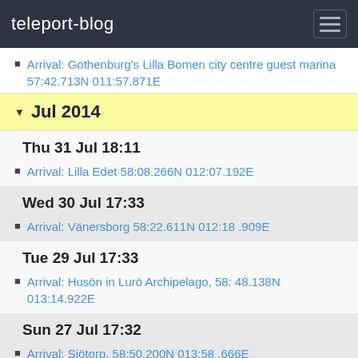teleport-blog
Arrival: Gothenburg's Lilla Bomen city centre guest marina 57:42.713N 011:57.871E
Jul 2014
Thu 31 Jul 18:11
Arrival: Lilla Edet 58:08.266N 012:07.192E
Wed 30 Jul 17:33
Arrival: Vänersborg 58:22.611N 012:18 .909E
Tue 29 Jul 17:33
Arrival: Husön in Lurö Archipelago, 58: 48.138N 013:14.922E
Sun 27 Jul 17:32
Arrival: Sjötorp, 58:50.200N 013:58 .666E
Sat 26 Jul 17:32
Arrival: Norrkvarn, 58:47.219N 014:04.882E
Fri 25 Jul 19:21
Arrival Vassbacken 58:37.609N 014:08.033E